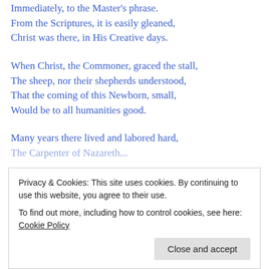Immediately, to the Master's phrase.
From the Scriptures, it is easily gleaned,
Christ was there, in His Creative days.
When Christ, the Commoner, graced the stall,
The sheep, nor their shepherds understood,
That the coming of this Newborn, small,
Would be to all humanities good.
Many years there lived and labored hard,
The Carpenter of Nazareth...
Easing the ill ones, touching the blind,
Privacy & Cookies: This site uses cookies. By continuing to use this website, you agree to their use. To find out more, including how to control cookies, see here: Cookie Policy